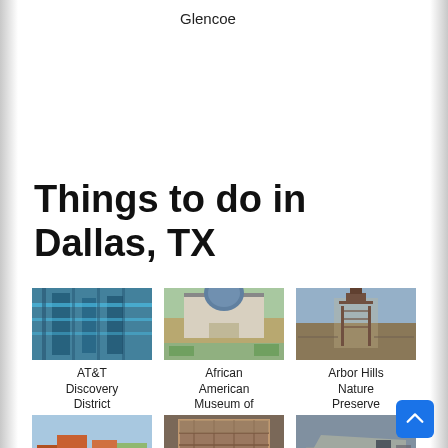Glencoe
Things to do in Dallas, TX
[Figure (photo): AT&T Discovery District interior photo with blue lighting]
AT&T Discovery District
[Figure (photo): African American Museum of Dallas exterior photo]
African American Museum of Dallas
[Figure (photo): Arbor Hills Nature Preserve boardwalk photo]
Arbor Hills Nature Preserve
[Figure (photo): Second row left photo - playground/park]
[Figure (photo): Second row center photo - brick building]
[Figure (photo): Second row right photo - aircraft/military exhibit]